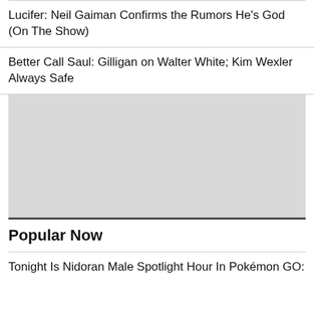Lucifer: Neil Gaiman Confirms the Rumors He's God (On The Show)
Better Call Saul: Gilligan on Walter White; Kim Wexler Always Safe
[Figure (other): Gray placeholder advertisement or image block]
Popular Now
Tonight Is Nidoran Male Spotlight Hour In Pokémon GO: